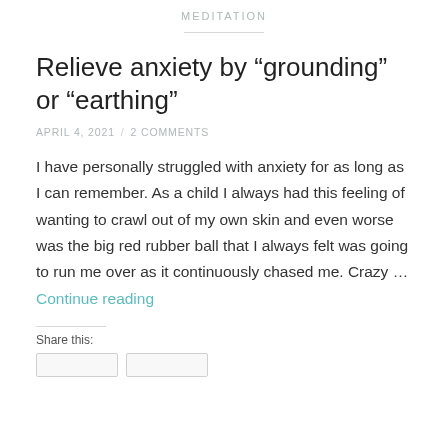MEDITATION
Relieve anxiety by “grounding” or “earthing”
APRIL 4, 2021 / 2 COMMENTS
I have personally struggled with anxiety for as long as I can remember. As a child I always had this feeling of wanting to crawl out of my own skin and even worse was the big red rubber ball that I always felt was going to run me over as it continuously chased me. Crazy … Continue reading
Share this: